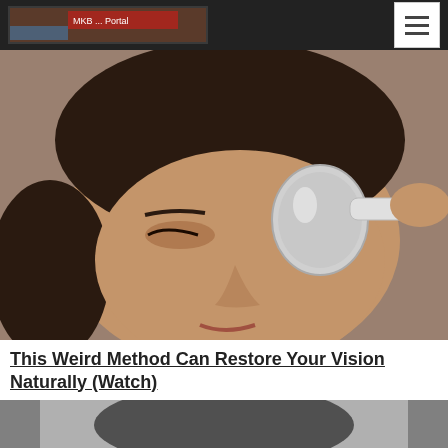[Website logo / navigation bar]
[Figure (photo): Close-up photo of a woman with closed eyes holding a spoon near her eye area, against a brown background]
This Weird Method Can Restore Your Vision Naturally (Watch)
Smart Life Reports
[Figure (photo): Grayscale photo of a man's face looking upward, appearing to be in a bathroom or similar setting]